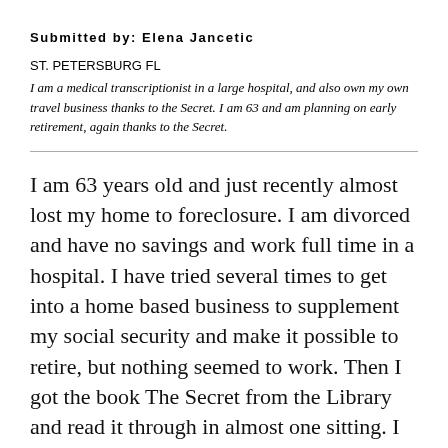Submitted by: Elena Jancetic
ST. PETERSBURG FL
I am a medical transcriptionist in a large hospital, and also own my own travel business thanks to the Secret. I am 63 and am planning on early retirement, again thanks to the Secret.
I am 63 years old and just recently almost lost my home to foreclosure. I am divorced and have no savings and work full time in a hospital. I have tried several times to get into a home based business to supplement my social security and make it possible to retire, but nothing seemed to work. Then I got the book The Secret from the Library and read it through in almost one sitting. I read it again and then